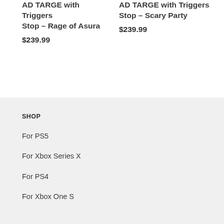AD TARGE with Triggers Stop – Rage of Asura
$239.99
AD TARGE with Triggers Stop – Scary Party
$239.99
SHOP
For PS5
For Xbox Series X
For PS4
For Xbox One S